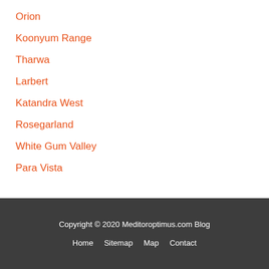Orion
Koonyum Range
Tharwa
Larbert
Katandra West
Rosegarland
White Gum Valley
Para Vista
Copyright © 2020 Meditoroptimus.com Blog
Home   Sitemap   Map   Contact